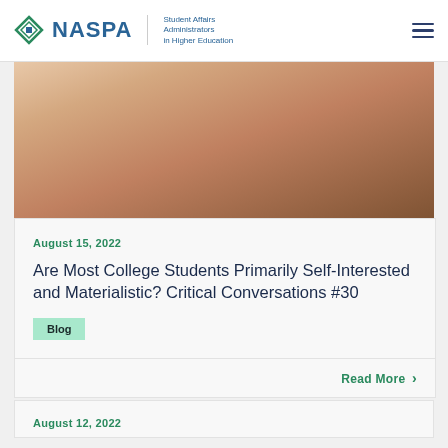NASPA Student Affairs Administrators in Higher Education
[Figure (photo): Partial photo of a person smiling, showing neck and lower face area, brownish background]
August 15, 2022
Are Most College Students Primarily Self-Interested and Materialistic? Critical Conversations #30
Blog
Read More
August 12, 2022